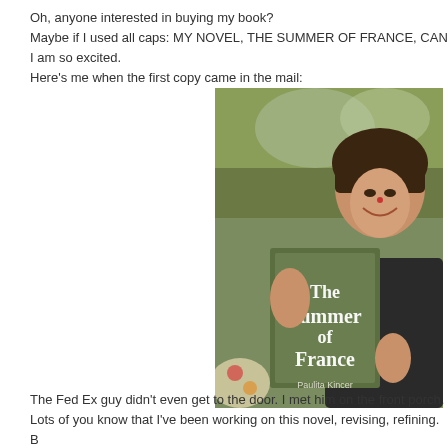Oh, anyone interested in buying my book?
Maybe if I used all caps: MY NOVEL, THE SUMMER OF FRANCE, CAN
I am so excited.
Here's me when the first copy came in the mail:
[Figure (photo): A smiling woman with short dark hair holding up a book titled 'The Summer of France' outdoors on a porch with greenery behind her.]
The Fed Ex guy didn't even get to the door. I met him on the front porch.
Lots of you know that I've been working on this novel, revising, refining. B
here's the blurb: